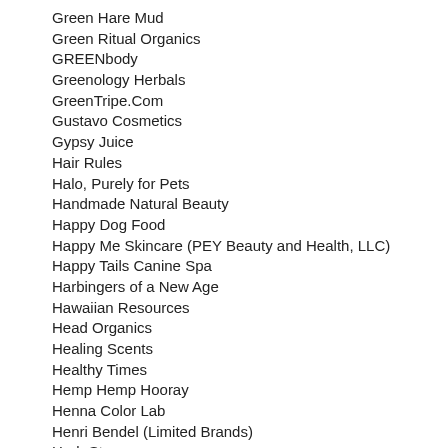Green Hare Mud
Green Ritual Organics
GREENbody
Greenology Herbals
GreenTripe.Com
Gustavo Cosmetics
Gypsy Juice
Hair Rules
Halo, Purely for Pets
Handmade Natural Beauty
Happy Dog Food
Happy Me Skincare (PEY Beauty and Health, LLC)
Happy Tails Canine Spa
Harbingers of a New Age
Hawaiian Resources
Head Organics
Healing Scents
Healthy Times
Hemp Hemp Hooray
Henna Color Lab
Henri Bendel (Limited Brands)
Herb Stop
Herbal Clear
herbal MINERAL
Herbal Products & Development